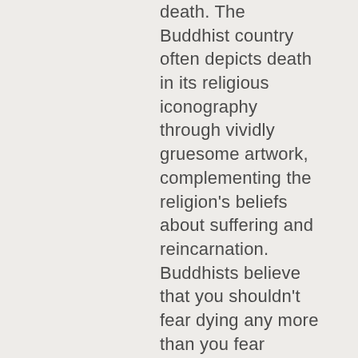death. The Buddhist country often depicts death in its religious iconography through vividly gruesome artwork, complementing the religion's beliefs about suffering and reincarnation. Buddhists believe that you shouldn't fear dying any more than you fear discarding old clothes.

Accepting death for what it is—an inescapable element of...